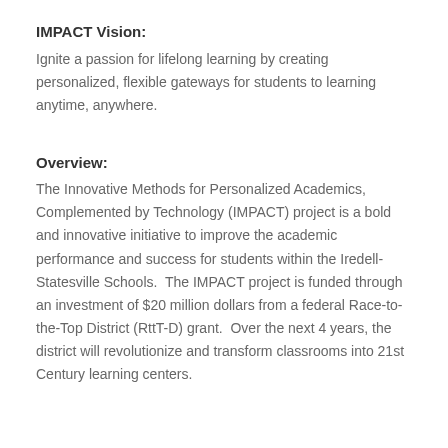IMPACT Vision:
Ignite a passion for lifelong learning by creating personalized, flexible gateways for students to learning anytime, anywhere.
Overview:
The Innovative Methods for Personalized Academics, Complemented by Technology (IMPACT) project is a bold and innovative initiative to improve the academic performance and success for students within the Iredell-Statesville Schools.  The IMPACT project is funded through an investment of $20 million dollars from a federal Race-to-the-Top District (RttT-D) grant.  Over the next 4 years, the district will revolutionize and transform classrooms into 21st Century learning centers.